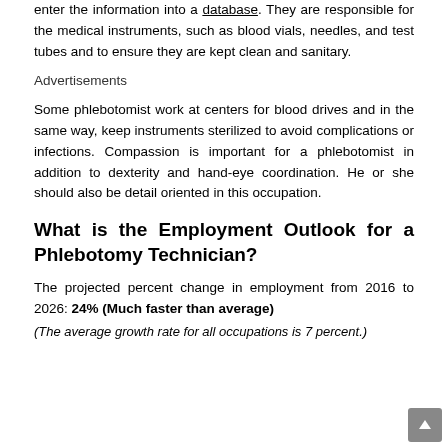enter the information into a database. They are responsible for the medical instruments, such as blood vials, needles, and test tubes and to ensure they are kept clean and sanitary.
Advertisements
Some phlebotomist work at centers for blood drives and in the same way, keep instruments sterilized to avoid complications or infections. Compassion is important for a phlebotomist in addition to dexterity and hand-eye coordination. He or she should also be detail oriented in this occupation.
What is the Employment Outlook for a Phlebotomy Technician?
The projected percent change in employment from 2016 to 2026: 24% (Much faster than average)
(The average growth rate for all occupations is 7 percent.)